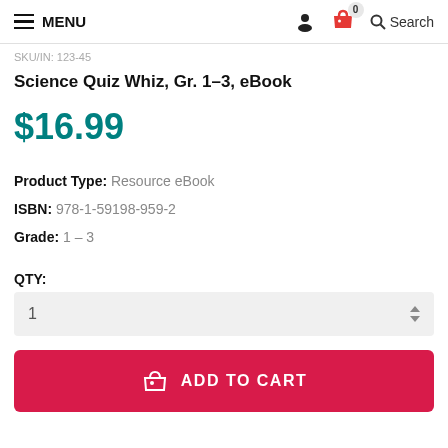MENU  Search
SKU/IN: 123-45
Science Quiz Whiz, Gr. 1–3, eBook
$16.99
Product Type: Resource eBook
ISBN: 978-1-59198-959-2
Grade: 1 – 3
QTY:
1
ADD TO CART